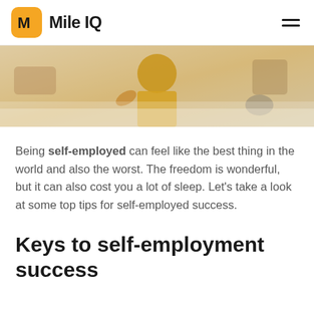MileIQ
[Figure (photo): A person wearing a yellow apron working in what appears to be a craft or bakery workshop, seen from behind/side angle.]
Being self-employed can feel like the best thing in the world and also the worst. The freedom is wonderful, but it can also cost you a lot of sleep. Let's take a look at some top tips for self-employed success.
Keys to self-employment success